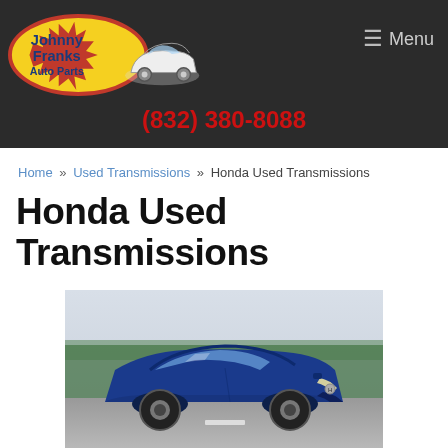Johnny Franks Auto Parts | (832) 380-8088 | Menu
Home » Used Transmissions » Honda Used Transmissions
Honda Used Transmissions
[Figure (photo): Blue Honda Civic coupe driving on a road with trees in background]